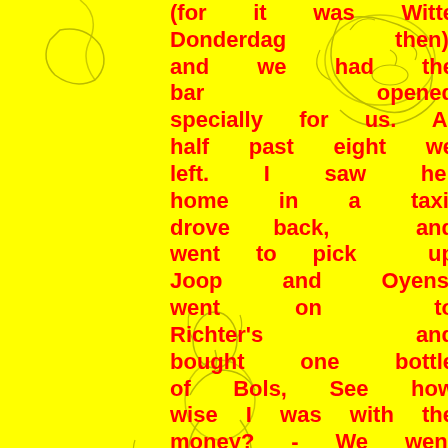[Figure (illustration): Yellow background with sketched cartoon-style figures in yellow/olive line art depicting people in various poses scattered across the page.]
(for it was Witte Donderdag then), and we had the bar opened specially for us. At half past eight we left. I saw her home in a taxi, drove back, and went to pick up Joop and Oyens, went on to Richter's and bought one bottle of Bols, See how wise I was with the money? - We went to the Jeep. And something went wrong there. We all drank Coca